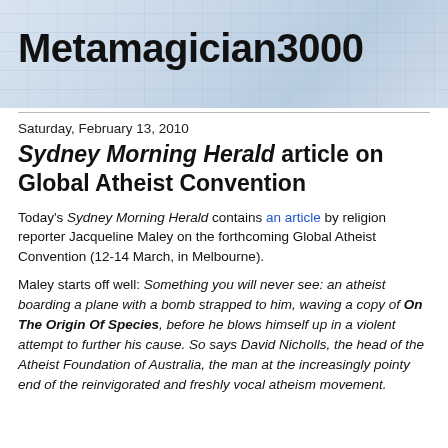Metamagician3000
Saturday, February 13, 2010
Sydney Morning Herald article on Global Atheist Convention
Today's Sydney Morning Herald contains an article by religion reporter Jacqueline Maley on the forthcoming Global Atheist Convention (12-14 March, in Melbourne).
Maley starts off well: Something you will never see: an atheist boarding a plane with a bomb strapped to him, waving a copy of On The Origin Of Species, before he blows himself up in a violent attempt to further his cause. So says David Nicholls, the head of the Atheist Foundation of Australia, the man at the increasingly pointy end of the reinvigorated and freshly vocal atheism movement.